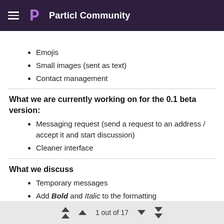Particl Community
Emojis
Small images (sent as text)
Contact management
What we are currently working on for the 0.1 beta version:
Messaging request (send a request to an address / accept it and start discussion)
Cleaner interface
What we discuss
Temporary messages
Add Bold and Italic to the formatting
Add group discussions
1 out of 17